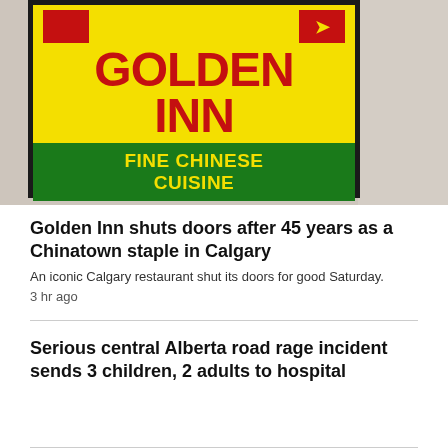[Figure (photo): Photo of the Golden Inn restaurant sign — a yellow sign with red lettering reading 'GOLDEN INN' and a green banner beneath reading 'FINE CHINESE CUISINE', mounted on a building exterior with grey/beige textured wall visible to the right.]
Golden Inn shuts doors after 45 years as a Chinatown staple in Calgary
An iconic Calgary restaurant shut its doors for good Saturday.
3 hr ago
Serious central Alberta road rage incident sends 3 children, 2 adults to hospital